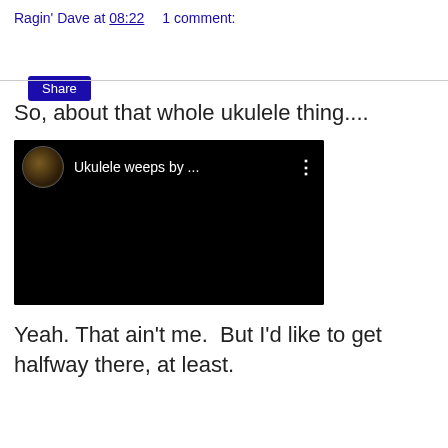Ragin' Dave at 08:22    1 comment:
Share
So, about that whole ukulele thing....
[Figure (screenshot): Embedded video thumbnail showing a YouTube-style video player with black background. A circular avatar image is shown on the left with the text 'Ukulele weeps by ...' and a three-dot menu icon on the right.]
Yeah. That ain't me.  But I'd like to get halfway there, at least.